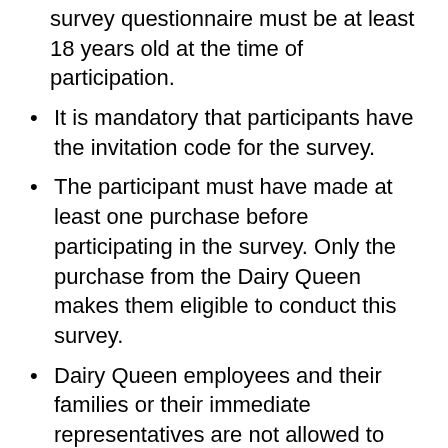survey questionnaire must be at least 18 years old at the time of participation.
It is mandatory that participants have the invitation code for the survey.
The participant must have made at least one purchase before participating in the survey. Only the purchase from the Dairy Queen makes them eligible to conduct this survey.
Dairy Queen employees and their families or their immediate representatives are not allowed to participate in the survey. This enhances the transparency of the DQFanSurvey.
Each participant can participate in the survey only once.